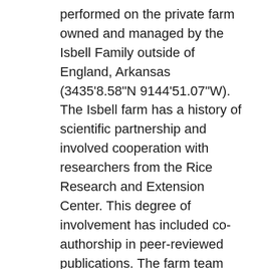performed on the private farm owned and managed by the Isbell Family outside of England, Arkansas (3435'8.58"N 9144'51.07"W). The Isbell farm has a history of scientific partnership and involved cooperation with researchers from the Rice Research and Extension Center. This degree of involvement has included co-authorship in peer-reviewed publications. The farm team can provide extensive logistical and practical support, including the use of machinery, storage facilities, and provision of a safe working environment. This project will resolve research gaps that have thus far prevented a full understanding of the effect of water-saving irrigation practices on all components of the water balance. In particular, due to the difficulty of measuring ET, this important term of the water budget